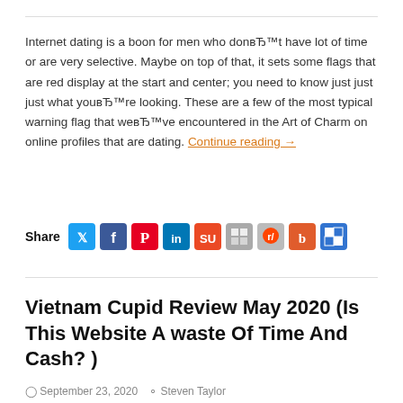Internet dating is a boon for men who donвЂ™t have lot of time or are very selective. Maybe on top of that, it sets some flags that are red display at the start and center; you need to know just just just what youвЂ™re looking. These are a few of the most typical warning flag that weвЂ™ve encountered in the Art of Charm on online profiles that are dating. Continue reading →
[Figure (infographic): Social share bar with Share label and icons for Twitter, Facebook, Pinterest, LinkedIn, StumbleUpon, other, Reddit, Blogger, Delicious]
Vietnam Cupid Review May 2020 (Is This Website A waste Of Time And Cash? )
September 23, 2020  Steven Taylor